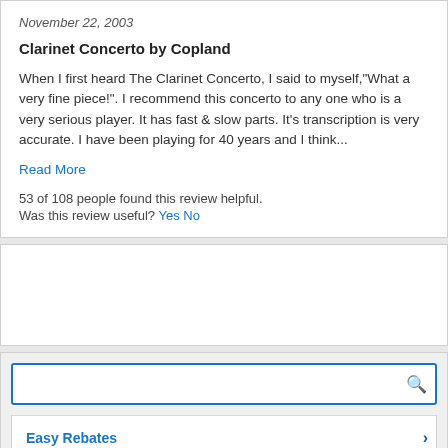November 22, 2003
Clarinet Concerto by Copland
When I first heard The Clarinet Concerto, I said to myself,"What a very fine piece!". I recommend this concerto to any one who is a very serious player. It has fast & slow parts. It's transcription is very accurate. I have been playing for 40 years and I think...
Read More
53 of 108 people found this review helpful.
Was this review useful? Yes No
Easy Rebates
Have a Website?
FREE Newsletter
Premium Products